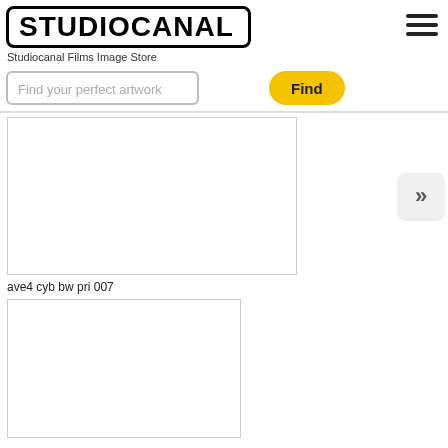[Figure (logo): Studiocanal logo in black bold text inside a rounded rectangle border]
Studiocanal Films Image Store
[Figure (other): Hamburger menu icon (three horizontal lines) in top right corner]
Find your perfect artwork
Find
[Figure (photo): White/blank image card placeholder, first search result]
ave4 cyb bw pri 007
[Figure (other): Double right arrow navigation button]
[Figure (photo): White/blank image card placeholder, second search result]